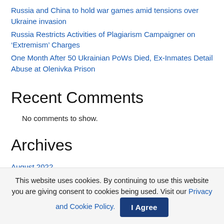Russia and China to hold war games amid tensions over Ukraine invasion
Russia Restricts Activities of Plagiarism Campaigner on 'Extremism' Charges
One Month After 50 Ukrainian PoWs Died, Ex-Inmates Detail Abuse at Olenivka Prison
Recent Comments
No comments to show.
Archives
August 2022
July 2022
This website uses cookies. By continuing to use this website you are giving consent to cookies being used. Visit our Privacy and Cookie Policy.